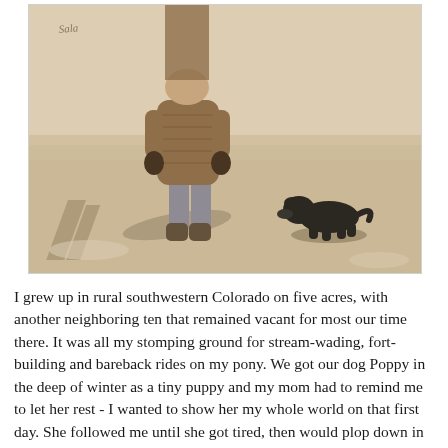[Figure (photo): Vintage sepia-toned photograph of a small child in a fur coat and boots walking in snow, with a small black puppy following behind. Both cast shadows on the snowy ground.]
I grew up in rural southwestern Colorado on five acres, with another neighboring ten that remained vacant for most our time there. It was all my stomping ground for stream-wading, fort-building and bareback rides on my pony. We got our dog Poppy in the deep of winter as a tiny puppy and my mom had to remind me to let her rest - I wanted to show her my whole world on that first day. She followed me until she got tired, then would plop down in the snow and cry until I picked